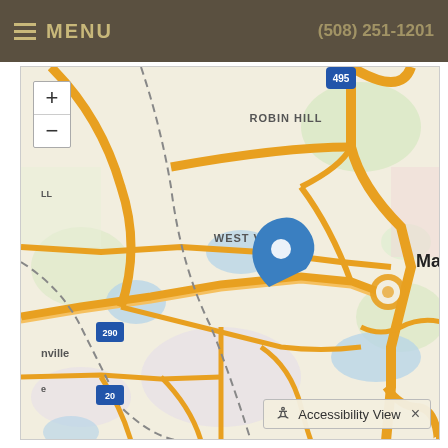MENU   (508) 251-1201
[Figure (map): Interactive street map showing the Marlborough, Massachusetts area with highways I-495 and Route 290, labeled areas Robin Hill, West Village, Marlborough, and a blue location pin marker. Route 20 also visible. Map includes water features shown in blue and green areas.]
Accessibility View